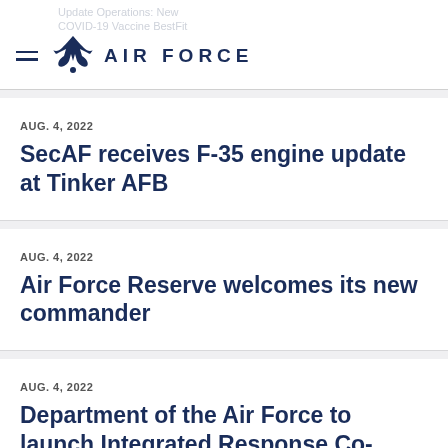AIR FORCE
AUG. 4, 2022
SecAF receives F-35 engine update at Tinker AFB
AUG. 4, 2022
Air Force Reserve welcomes its new commander
AUG. 4, 2022
Department of the Air Force to launch Integrated Response Co-Location Pilot program, outlines initiatives